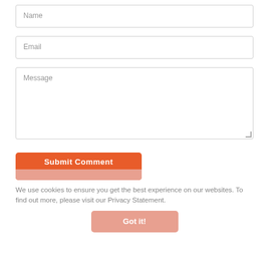[Figure (screenshot): Web form with Name, Email, and Message input fields, a Submit Comment button, a cookie notice, and a Got It button.]